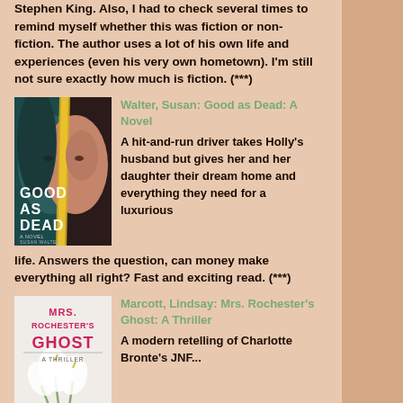Stephen King. Also, I had to check several times to remind myself whether this was fiction or non-fiction. The author uses a lot of his own life and experiences (even his very own hometown). I'm still not sure exactly how much is fiction. (***)
[Figure (illustration): Book cover for 'Good as Dead: A Novel' by Susan Walter, showing a woman's face split with dark and light sides, with gold light in the middle. Title text reads GOOD AS DEAD in white letters.]
Walter, Susan: Good as Dead: A Novel
A hit-and-run driver takes Holly's husband but gives her and her daughter their dream home and everything they need for a luxurious life. Answers the question, can money make everything all right? Fast and exciting read. (***)
[Figure (illustration): Book cover for 'Mrs. Rochester's Ghost: A Thriller' by Lindsay Marcott, showing white calla lilies on a light background with pink and red text.]
Marcott, Lindsay: Mrs. Rochester's Ghost: A Thriller
A modern retelling of Charlotte Bronte's JNF...